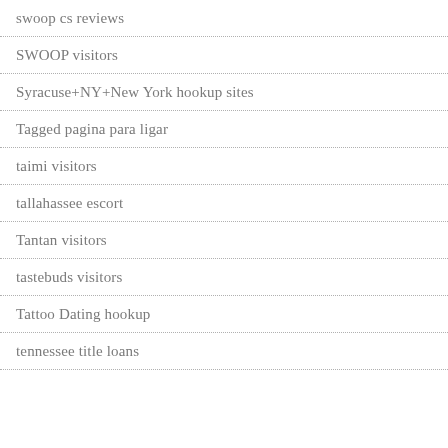swoop cs reviews
SWOOP visitors
Syracuse+NY+New York hookup sites
Tagged pagina para ligar
taimi visitors
tallahassee escort
Tantan visitors
tastebuds visitors
Tattoo Dating hookup
tennessee title loans